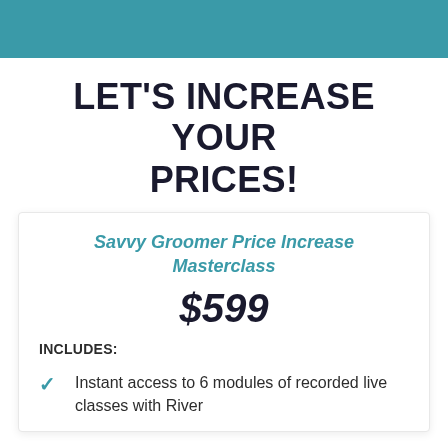LET'S INCREASE YOUR PRICES!
Savvy Groomer Price Increase Masterclass
$599
INCLUDES:
Instant access to 6 modules of recorded live classes with River